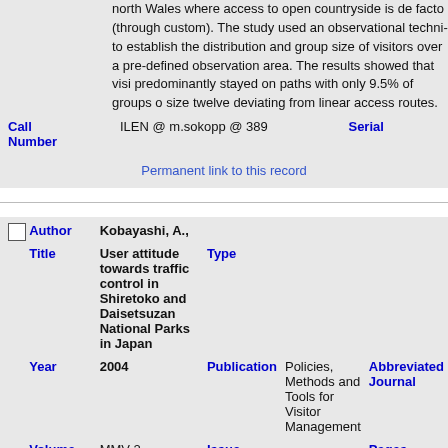north Wales where access to open countryside is de facto (through custom). The study used an observational technique to establish the distribution and group size of visitors over a pre-defined observation area. The results showed that visitors predominantly stayed on paths with only 9.5% of groups of size twelve deviating from linear access routes.
| Call Number | Value | Serial |
| --- | --- | --- |
| Call Number | ILEN @ m.sokopp @ 389 | Serial |
Permanent link to this record
| Author | Title | Type | Year | Publication | Abbreviated Journal | Volume | Issue | Pages | Keywords |
| --- | --- | --- | --- | --- | --- | --- | --- | --- | --- |
| Author | Kobayashi, A., |  |  |
| Title | User attitude towards traffic control in Shiretoko and Daisetsuzan National Parks in Japan | Type |  |
| Year | 2004 | Publication | Policies, Methods and Tools for Visitor Management | Abbreviated Journal |  |
| Volume | MMV 2 - Proceedings | Issue |  | Pages |  |
| Keywords | MMV2 |  |  |